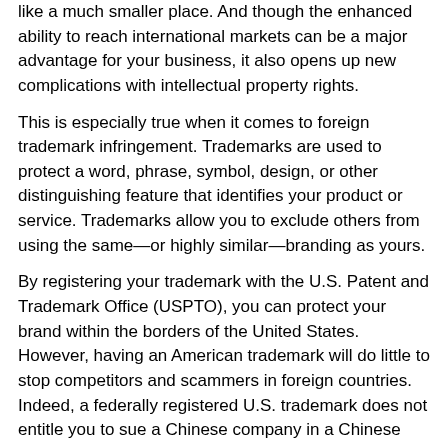like a much smaller place. And though the enhanced ability to reach international markets can be a major advantage for your business, it also opens up new complications with intellectual property rights.
This is especially true when it comes to foreign trademark infringement. Trademarks are used to protect a word, phrase, symbol, design, or other distinguishing feature that identifies your product or service. Trademarks allow you to exclude others from using the same—or highly similar—branding as yours.
By registering your trademark with the U.S. Patent and Trademark Office (USPTO), you can protect your brand within the borders of the United States. However, having an American trademark will do little to stop competitors and scammers in foreign countries. Indeed, a federally registered U.S. trademark does not entitle you to sue a Chinese company in a Chinese court, even if it used your exact name and/or logo.
So what can you do to prevent your company's trademark from being infringed upon in other countries? Big-name companies